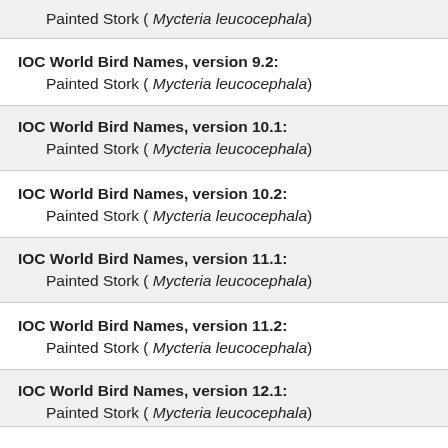Painted Stork ( Mycteria leucocephala)
IOC World Bird Names, version 9.2:
Painted Stork ( Mycteria leucocephala)
IOC World Bird Names, version 10.1:
Painted Stork ( Mycteria leucocephala)
IOC World Bird Names, version 10.2:
Painted Stork ( Mycteria leucocephala)
IOC World Bird Names, version 11.1:
Painted Stork ( Mycteria leucocephala)
IOC World Bird Names, version 11.2:
Painted Stork ( Mycteria leucocephala)
IOC World Bird Names, version 12.1:
Painted Stork ( Mycteria leucocephala)